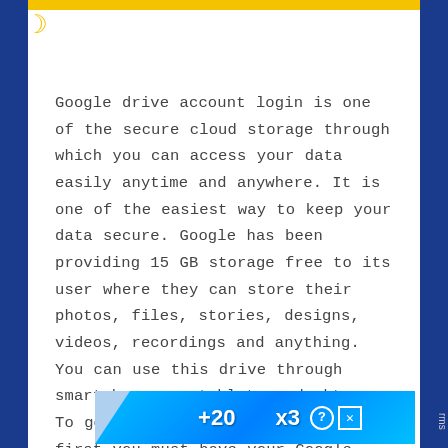Google drive account login is one of the secure cloud storage through which you can access your data easily anytime and anywhere. It is one of the easiest way to keep your data secure. Google has been providing 15 GB storage free to its user where they can store their photos, files, stories, designs, videos, recordings and anything. You can use this drive through smartphones or tablet or desktops. To get access to Google drive, first you must have your Google account. Here is how your Google drive account is login:
[Figure (screenshot): Advertisement banner showing +20 and x3 with help and close icons on a blue background]